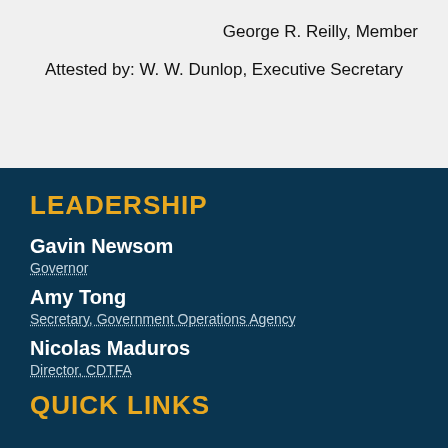George R. Reilly, Member
Attested by: W. W. Dunlop, Executive Secretary
LEADERSHIP
Gavin Newsom
Governor
Amy Tong
Secretary, Government Operations Agency
Nicolas Maduros
Director, CDTFA
QUICK LINKS